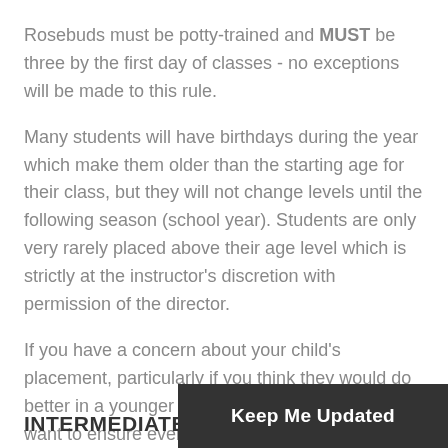Rosebuds must be potty-trained and MUST be three by the first day of classes - no exceptions will be made to this rule.
Many students will have birthdays during the year which make them older than the starting age for their class, but they will not change levels until the following season (school year). Students are only very rarely placed above their age level which is strictly at the instructor's discretion with permission of the director.
If you have a concern about your child's placement, particularly if you think they would do better in a younger class, please let us know. We want to ensure every child is in a class where they will succeed.
INTERMEDIATE SCH